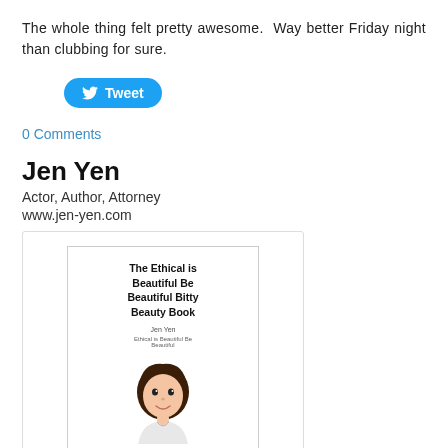The whole thing felt pretty awesome.  Way better Friday night than clubbing for sure.
[Figure (other): Twitter Tweet button (blue rounded pill button with bird icon and 'Tweet' label)]
0 Comments
Jen Yen
Actor, Author, Attorney
www.jen-yen.com
[Figure (illustration): Book cover for 'The Ethical is Beautiful Be Beautiful Bitty Beauty Book' by Jen Yen, showing a cartoon avatar of a woman with dark hair.]
The Ethical is B ...
Jen Yen
$12.95